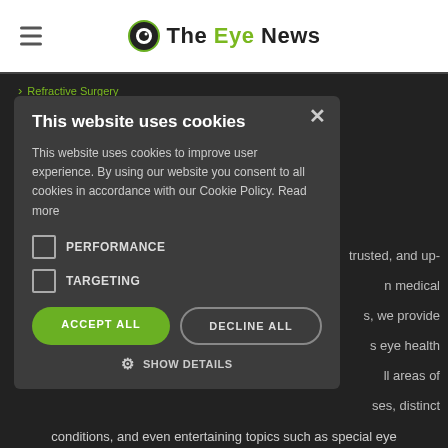The Eye News
Refractive Surgery
This website uses cookies
This website uses cookies to improve user experience. By using our website you consent to all cookies in accordance with our Cookie Policy. Read more
PERFORMANCE
TARGETING
ACCEPT ALL
DECLINE ALL
SHOW DETAILS
conditions, and even entertaining topics such as special eye